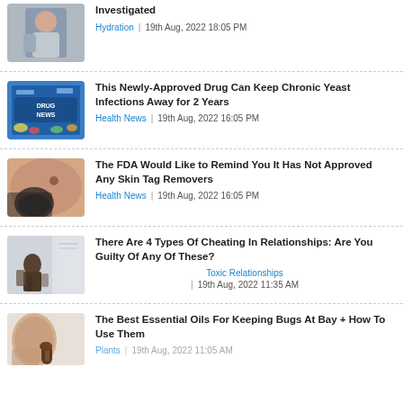[Figure (photo): Woman reading or looking at something, gray background]
Investigated
Hydration | 19th Aug, 2022 18:05 PM
[Figure (photo): Drug news text on blue background with pills]
This Newly-Approved Drug Can Keep Chronic Yeast Infections Away for 2 Years
Health News | 19th Aug, 2022 16:05 PM
[Figure (photo): Close-up of skin with a mole and finger]
The FDA Would Like to Remind You It Has Not Approved Any Skin Tag Removers
Health News | 19th Aug, 2022 16:05 PM
[Figure (photo): Person sitting alone by window in dark room]
There Are 4 Types Of Cheating In Relationships: Are You Guilty Of Any Of These?
Toxic Relationships | 19th Aug, 2022 11:35 AM
[Figure (photo): Person applying essential oil from small bottle]
The Best Essential Oils For Keeping Bugs At Bay + How To Use Them
Plants | 19th Aug, 2022 11:05 AM